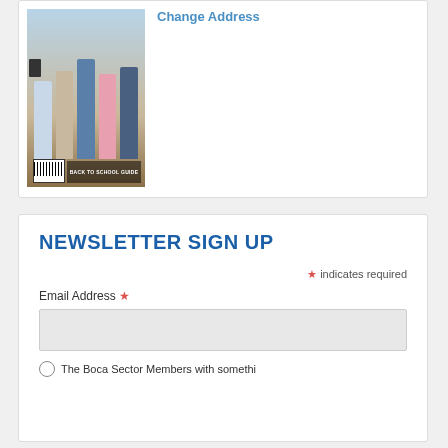[Figure (photo): Magazine cover showing people posing outdoors, with a barcode and 'BACK TO SCHOOL GUIDE' text at the bottom]
Change Address
NEWSLETTER SIGN UP
* indicates required
Email Address *
The Boca Sector Members with something